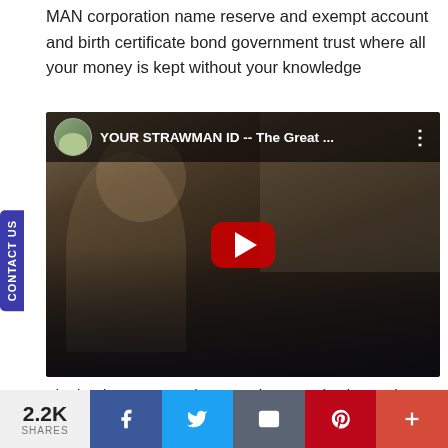MAN corporation name reserve and exempt account and birth certificate bond government trust where all your money is kept without your knowledge
[Figure (screenshot): YouTube video thumbnail titled 'YOUR STRAWMAN ID -- The Great ...' showing a man with glasses and a striped shirt, with a red YouTube play button overlay and a small avatar thumbnail in the top left corner. A 'CONTACT US' tab appears on the left side.]
The banks use your signature, by monetization and fractionalization, with your unknown permission, to create money out of thin air by use of bookkeeping accounting entries
2.2K SHARES  [Facebook] [Twitter] [Email] [Pinterest] [+]